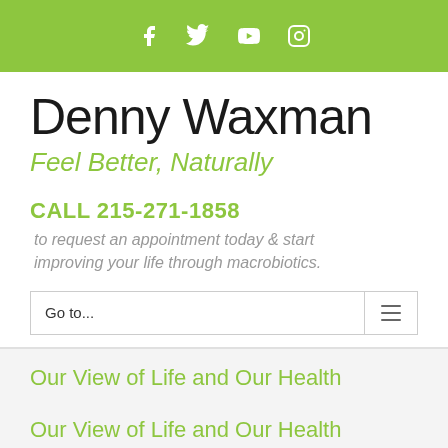Social media icons: Facebook, Twitter, YouTube, Instagram
Denny Waxman
Feel Better, Naturally
CALL 215-271-1858
to request an appointment today & start improving your life through macrobiotics.
Go to...
Our View of Life and Our Health
Our View of Life and Our Health